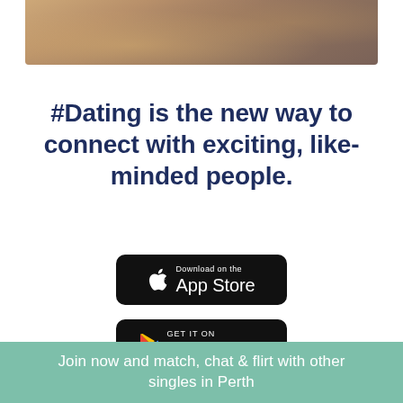[Figure (photo): Partial photo of sandy/desert dunes at top of page]
#Dating is the new way to connect with exciting, like-minded people.
[Figure (other): Download on the App Store badge (black rounded rectangle with Apple logo)]
[Figure (other): GET IT ON Google Play badge (black rounded rectangle with Play Store triangle logo)]
Join now and match, chat & flirt with other singles in Perth